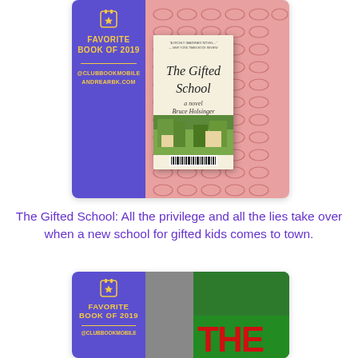[Figure (photo): Photo of book 'The Gifted School' by Bruce Holsinger on a pink glasses-patterned background with a blue 'Favorite Book of 2019' panel on the left showing @CLUBBOOKMOBILE and ANDREARBK.COM]
The Gifted School: All the privilege and all the lies take over when a new school for gifted kids comes to town.
[Figure (photo): Partial photo of another book with blue 'Favorite Book of 2019' panel on the left showing @CLUBBOOKMOBILE, with a green and red background]